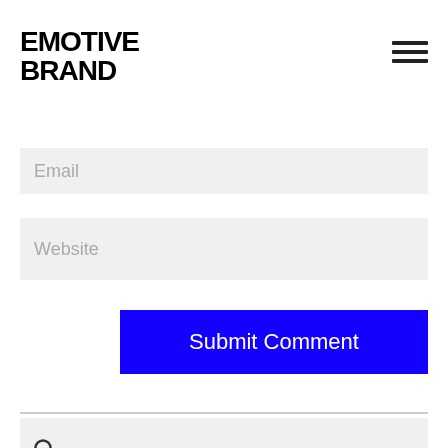[Figure (logo): Emotive Brand logo in bold black uppercase text]
[Figure (infographic): Hamburger menu icon (three horizontal lines)]
Email
Website
Submit Comment
[Figure (infographic): Search input field with magnifying glass icon]
[Figure (infographic): Subscribe email input with grid icon and Subscribe button]
Recent Posts / Top